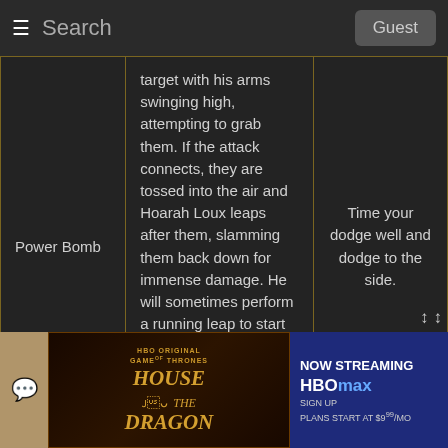Search | Guest
| Move | Description | Counter |
| --- | --- | --- |
| Power Bomb | target with his arms swinging high, attempting to grab them. If the attack connects, they are tossed into the air and Hoarah Loux leaps after them, slamming them back down for immense damage. He will sometimes perform a running leap to start off the move, which will be much faster than his regular running animation | Time your dodge well and dodge to the side. |
[Figure (screenshot): HBO House of the Dragon advertisement banner with NOW STREAMING HBOMAX text and plans starting at $9/mo]